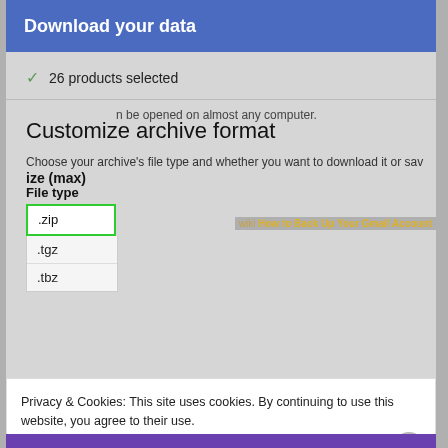Download your data
✓ 26 products selected
Customize archive format
Choose your archive's file type and whether you want to download it or sav
File type
[Figure (screenshot): Dropdown menu showing file type options: .zip (selected, highlighted in green border), .tgz, .tbz]
n be opened on almost any computer.
ize (max)
Privacy & Cookies: This site uses cookies. By continuing to use this website, you agree to their use.
To find out more, including how to control cookies, see here: Cookie Policy
Close and accept